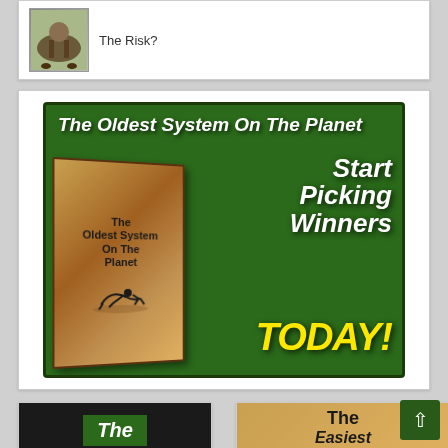[Figure (illustration): Partial view of a blog post card showing a horse racing thumbnail image and text 'The Risk?']
[Figure (illustration): Advertisement banner with dark green background showing a book titled 'The Oldest System On The Planet' with text: 'The Oldest System On The Planet', 'Start Picking Winners', 'TODAY!' in white and yellow italic bold font, with a book cover illustration and jockey silhouette]
[Figure (illustration): Bottom-left partial card showing a dark green banner with white bold italic text 'The']
[Figure (illustration): Bottom-right partial card showing a tan/gold textured background with bold text 'The' and 'Easiest']